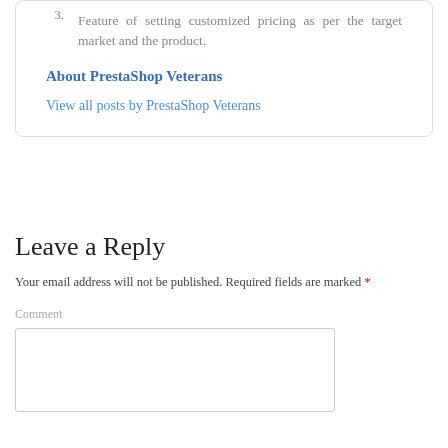3. Feature of setting customized pricing as per the target market and the product.
About PrestaShop Veterans
View all posts by PrestaShop Veterans
Leave a Reply
Your email address will not be published. Required fields are marked *
Comment